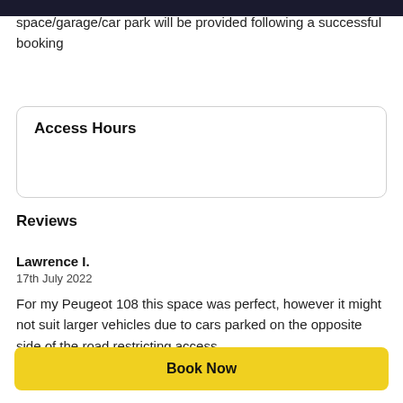space/garage/car park will be provided following a successful booking
Access Hours
Reviews
Lawrence I.
17th July 2022
For my Peugeot 108 this space was perfect, however it might not suit larger vehicles due to cars parked on the opposite side of the road restricting access.
Book Now